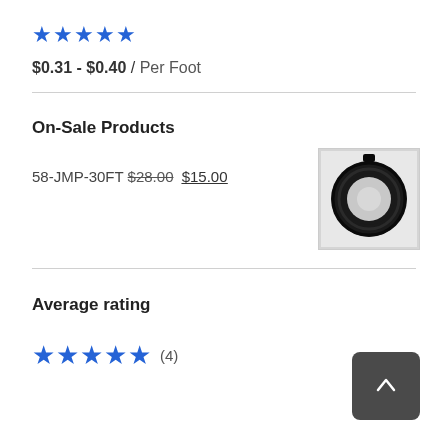★★★★★ (5 stars)
$0.31 - $0.40 / Per Foot
On-Sale Products
58-JMP-30FT $28.00 $15.00
[Figure (photo): Coiled black cable/hose product photo]
Average rating
★★★★★ (4)